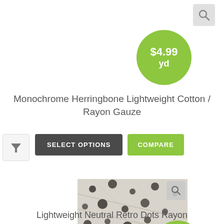[Figure (screenshot): Search magnifying glass icon in grey rounded square, top right corner]
[Figure (infographic): Green circular price badge showing $4.99 / yd]
Monochrome Herringbone Lightweight Cotton / Rayon Gauze
[Figure (infographic): Filter funnel icon in grey rounded square]
[Figure (screenshot): SELECT OPTIONS dark grey button and COMPARE green button]
[Figure (photo): Close-up photo of lightweight fabric with dark dots pattern on light background, with search icon and $4.99/yd green price badge]
Lightweight Neutral Retro Dots Rayon